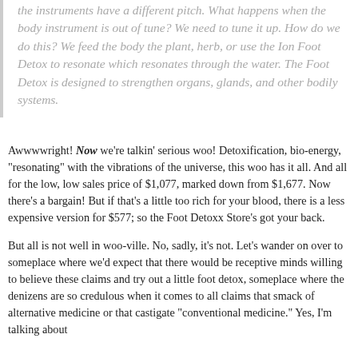the instruments have a different pitch. What happens when the body instrument is out of tune? We need to tune it up. How do we do this? We feed the body the plant, herb, or use the Ion Foot Detox to resonate which resonates through the water. The Foot Detox is designed to strengthen organs, glands, and other bodily systems.
Awwwwright! Now we're talkin' serious woo! Detoxification, bio-energy, "resonating" with the vibrations of the universe, this woo has it all. And all for the low, low sales price of $1,077, marked down from $1,677. Now there's a bargain! But if that's a little too rich for your blood, there is a less expensive version for $577; so the Foot Detoxx Store's got your back.
But all is not well in woo-ville. No, sadly, it's not. Let's wander on over to someplace where we'd expect that there would be receptive minds willing to believe these claims and try out a little foot detox, someplace where the denizens are so credulous when it comes to all claims that smack of alternative medicine or that castigate "conventional medicine." Yes, I'm talking about